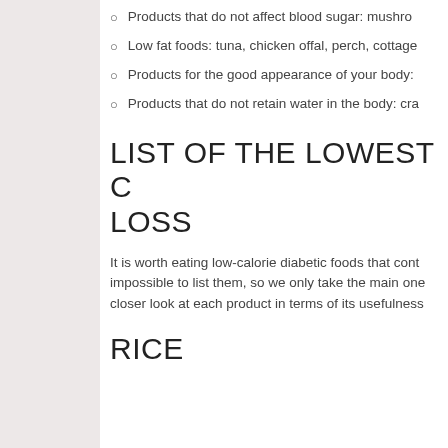Products that do not affect blood sugar: mushro…
Low fat foods: tuna, chicken offal, perch, cottage…
Products for the good appearance of your body: …
Products that do not retain water in the body: cra…
LIST OF THE LOWEST C… LOSS
It is worth eating low-calorie diabetic foods that cont… impossible to list them, so we only take the main one… closer look at each product in terms of its usefulness…
RICE